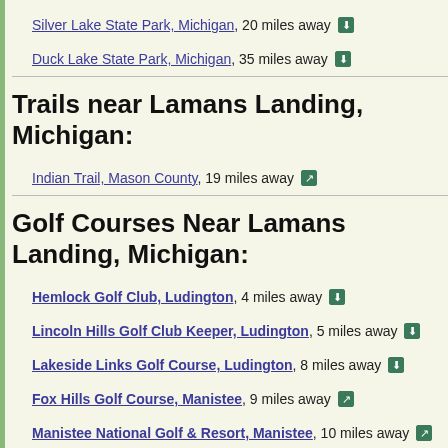Silver Lake State Park, Michigan, 20 miles away
Duck Lake State Park, Michigan, 35 miles away
Trails near Lamans Landing, Michigan:
Indian Trail, Mason County, 19 miles away
Golf Courses Near Lamans Landing, Michigan:
Hemlock Golf Club, Ludington, 4 miles away
Lincoln Hills Golf Club Keeper, Ludington, 5 miles away
Lakeside Links Golf Course, Ludington, 8 miles away
Fox Hills Golf Course, Manistee, 9 miles away
Manistee National Golf & Resort, Manistee, 10 miles away